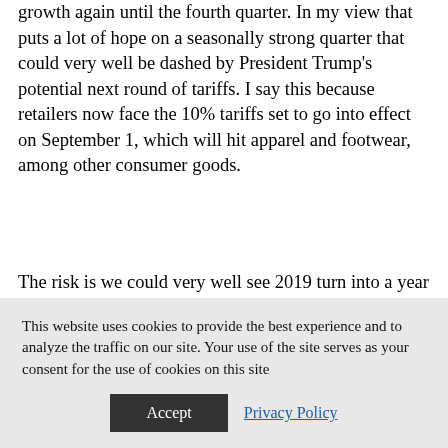growth again until the fourth quarter. In my view that puts a lot of hope on a seasonally strong quarter that could very well be dashed by President Trump's potential next round of tariffs. I say this because retailers now face the 10% tariffs set to go into effect on September 1, which will hit apparel and footwear, among other consumer goods.
The risk is we could very well see 2019 turn into a year with little to no EPS growth for the S&P 500, and if factor out the impact of buybacks it likely means
This website uses cookies to provide the best experience and to analyze the traffic on our site. Your use of the site serves as your consent for the use of cookies on this site